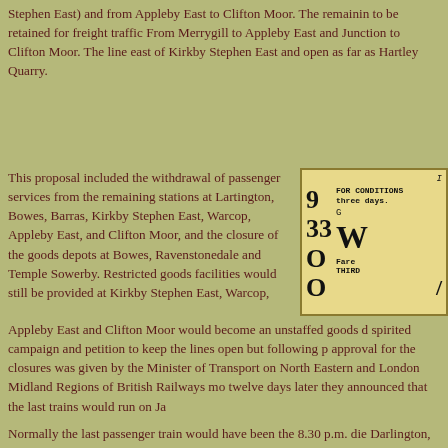Stephen East) and from Appleby East to Clifton Moor. The remaining lines were to be retained for freight traffic From Merrygill to Appleby East and from Clifton Junction to Clifton Moor. The line east of Kirkby Stephen East and would remain open as far as Hartley Quarry.
This proposal included the withdrawal of passenger services from the remaining stations at Lartington, Bowes, Barras, Kirkby Stephen East, Warcop, Appleby East, and Clifton Moor, and the closure of the goods depots at Bowes, Ravenstonedale and Temple Sowerby. Restricted goods facilities would still be provided at Kirkby Stephen East, Warcop,
[Figure (other): Old railway ticket stub showing numbers 9, 33, 0, 0 in a column on the left, with text FOR CONDITIONS three days, W, Fare THIRD on the right portions.]
Appleby East and Clifton Moor would become an unstaffed goods depot. There was a spirited campaign and petition to keep the lines open but following public hearings approval for the closures was given by the Minister of Transport on... The North Eastern and London Midland Regions of British Railways moved quickly and twelve days later they announced that the last trains would run on Ja...
Normally the last passenger train would have been the 8.30 p.m. die... from Darlington, but the Railway Correspondence & Travel Society had a... steam-hauled train, conveying enthusiasts and others on that day an... last train conveying passengers to run between Penrith, Kirkby Step... The train started at Darlington and ran through to Tebay with photo... East and Ravenstonedale, it then returned to Kirkby Stephen East be... Carlisle. It returned after the last passenger train from Penrith arriv...